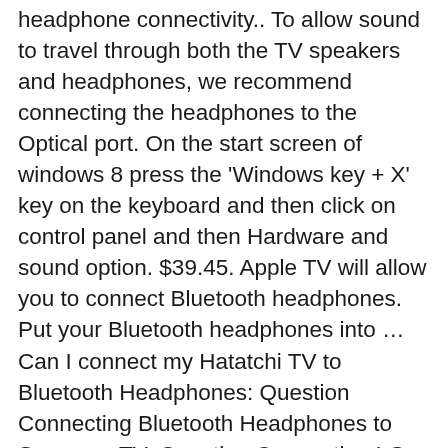headphone connectivity.. To allow sound to travel through both the TV speakers and headphones, we recommend connecting the headphones to the Optical port. On the start screen of windows 8 press the 'Windows key + X' key on the keyboard and then click on control panel and then Hardware and sound option. $39.45. Apple TV will allow you to connect Bluetooth headphones. Put your Bluetooth headphones into … Can I connect my Hatatchi TV to Bluetooth Headphones: Question Connecting Bluetooth Headphones to Samsung TV: Question Connecting LG 42LB73 to Bluetooth Headphones: Question No 3.5 jack to connect In-ear Headphones - TV LG 43UK6400: Solved! CD Boombox with AM/FM Radio - ... That's more than enough to fuel you through a whole day (and night) of binge-watching your favorite series. The F 8000 doesn't feature Bluetooth headphone connectivity.. To allow sound to travel through both the TV speakers and headphones, we recommend connecting the headphones to the Optical port. If your TV DOES have built-in Bluetooth. We use cookies to give you the best possible experience on our website. To accept